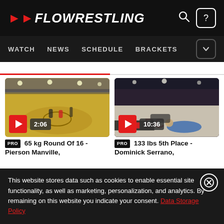FLOWRESTLING — WATCH NEWS SCHEDULE BRACKETS
[Figure (screenshot): Video thumbnail showing wrestling match on yellow mat, indoor gymnasium, 2:06 duration]
PRO 65 kg Round Of 16 - Pierson Manville,
[Figure (screenshot): Video thumbnail showing wrestling match on dark mat in arena, 10:36 duration]
PRO 133 lbs 5th Place - Dominick Serrano,
This website stores data such as cookies to enable essential site functionality, as well as marketing, personalization, and analytics. By remaining on this website you indicate your consent. Data Storage Policy